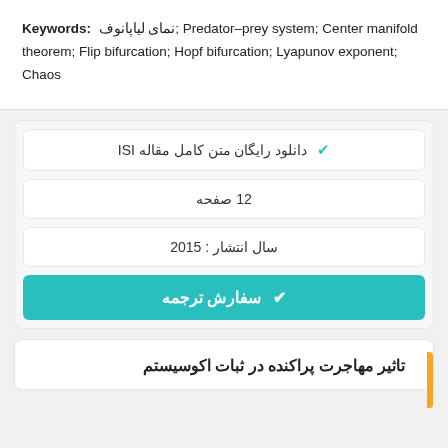Keywords: نمای لیاپانوف; Predator–prey system; Center manifold theorem; Flip bifurcation; Hopf bifurcation; Lyapunov exponent; Chaos
✓ دانلود رایگان متن کامل مقاله ISI
12 صفحه
سال انتشار : 2015
✓ سفارش ترجمه
تاثیر مهاجرت پراکنده در ثبات اکوسیستم